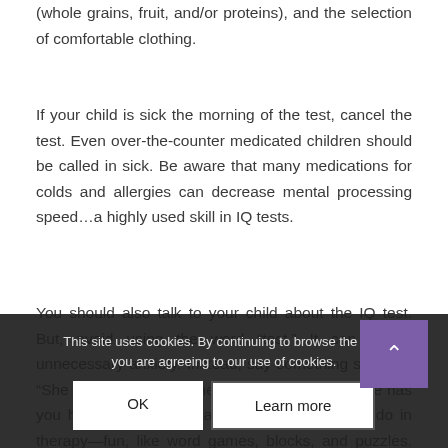(whole grains, fruit, and/or proteins), and the selection of comfortable clothing.
If your child is sick the morning of the test, cancel the test. Even over-the-counter medicated children should be called in sick. Be aware that many medications for colds and allergies can decrease mental processing speed…a highly used skill in IQ tests.
You should also talk to your child about the IQ test. But, avoid using the word “test.” It can create unnecessary anxiety. Instead, say something such as, “She is going to see if there are some things... She has you helping with some activities, like what you do in therapy—fun, like word games, blocks, and puzzles. You should ask for